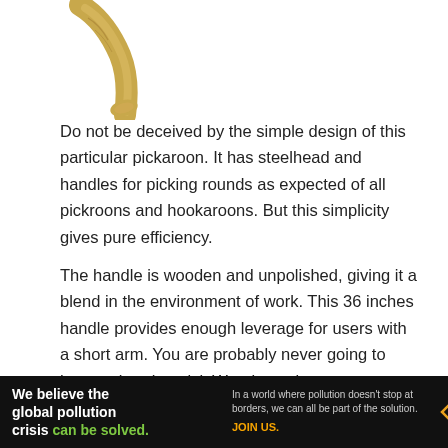[Figure (photo): A wooden pickaroon tool with a curved handle photographed against a white background, showing the top portion of the tool.]
Do not be deceived by the simple design of this particular pickaroon. It has steelhead and handles for picking rounds as expected of all pickroons and hookaroons. But this simplicity gives pure efficiency.
The handle is wooden and unpolished, giving it a blend in the environment of work. This 36 inches handle provides enough leverage for users with a short arm. You are probably never going to have to bend to pick Woods again
[Figure (infographic): Pure Earth advertisement banner. Black background. Left: bold white text reading 'We believe the global pollution crisis can be solved.' with 'can be solved.' in green. Middle: small text 'In a world where pollution doesn't stop at borders, we can all be part of the solution.' with orange text 'JOIN US.' Right: Pure Earth logo (diamond/chevron icon in gold/orange) with white text 'PURE EARTH'.]